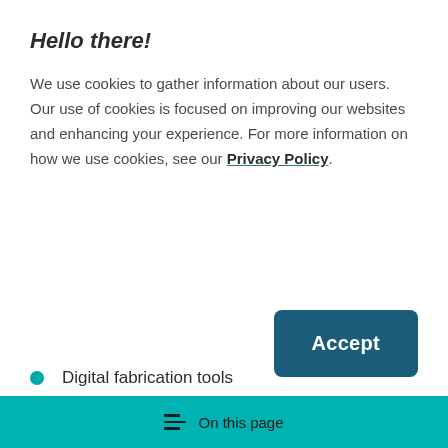Hello there!
We use cookies to gather information about our users. Our use of cookies is focused on improving our websites and enhancing your experience. For more information on how we use cookies, see our Privacy Policy.
[Figure (other): Accept button — a dark teal/blue rectangular button with rounded corners and white bold text reading 'Accept']
Digital fabrication tools
Foundry and forge
On this page